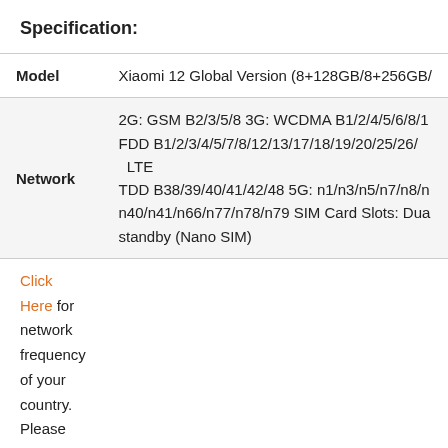Specification:
|  |  |
| --- | --- |
| Model | Xiaomi 12 Global Version (8+128GB/8+256GB/... |
| Network | 2G: GSM B2/3/5/8 3G: WCDMA B1/2/4/5/6/8/1 FDD B1/2/3/4/5/7/8/12/13/17/18/19/20/25/26/ LTE TDD B38/39/40/41/42/48 5G: n1/n3/n5/n7/n8/n n40/n41/n66/n77/n78/n79 SIM Card Slots: Dua standby (Nano SIM) |
Click Here for network frequency of your country. Please